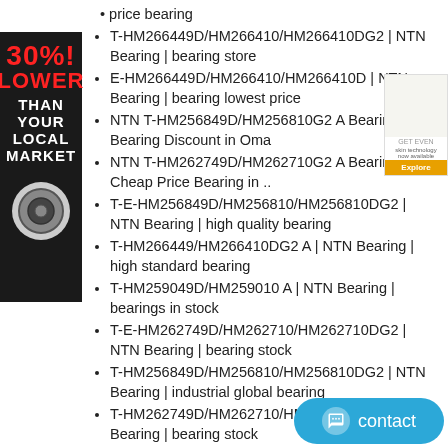price bearing
T-HM266449D/HM266410/HM266410DG2 | NTN Bearing | bearing store
E-HM266449D/HM266410/HM266410D | NTN Bearing | bearing lowest price
NTN T-HM256849D/HM256810G2 A Bearing - Bearing Discount in Oma
NTN T-HM262749D/HM262710G2 A Bearing - Cheap Price Bearing in ..
T-E-HM256849D/HM256810/HM256810DG2 | NTN Bearing | high quality bearing
T-HM266449/HM266410DG2 A | NTN Bearing | high standard bearing
T-HM259049D/HM259010 A | NTN Bearing | bearings in stock
T-E-HM262749D/HM262710/HM262710DG2 | NTN Bearing | bearing stock
T-HM256849D/HM256810/HM256810DG2 | NTN Bearing | industrial global bearing
T-HM262749D/HM262710/HM262710DG2 | NTN Bearing | bearing stock
M270449DA/M270410 M270410EA | TIMKEN Bearing | low price now